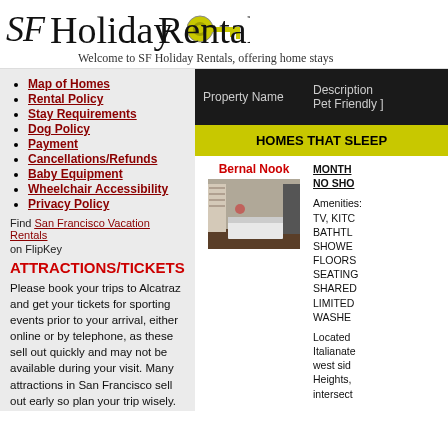[Figure (logo): SF Holiday Rentals logo with key icon and stylized text]
Welcome to SF Holiday Rentals, offering home stays
Map of Homes
Rental Policy
Stay Requirements
Dog Policy
Payment
Cancellations/Refunds
Baby Equipment
Wheelchair Accessibility
Privacy Policy
Find San Francisco Vacation Rentals on FlipKey
ATTRACTIONS/TICKETS
Please book your trips to Alcatraz and get your tickets for sporting events prior to your arrival, either online or by telephone, as these sell out quickly and may not be available during your visit. Many attractions in San Francisco sell out early so plan your trip wisely.
| Property Name | Description [ Pet Friendly ] |
| --- | --- |
| HOMES THAT SLEEP |
| Bernal Nook | MONTH... NO SHO... Amenities: TV, KITC... BATHTUB SHOWER FLOORS SEATING SHARED LIMITED WASHE... Located Italianate west side Heights, intersect... |
[Figure (photo): Interior photo of Bernal Nook showing a bedroom with white bedding, built-in shelving, and dark floors]